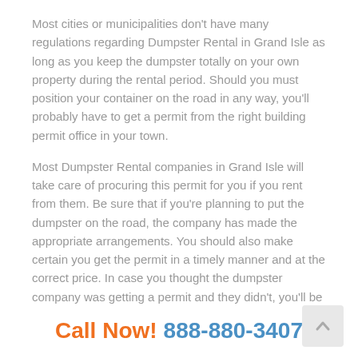Most cities or municipalities don't have many regulations regarding Dumpster Rental in Grand Isle as long as you keep the dumpster totally on your own property during the rental period. Should you must position your container on the road in any way, you'll probably have to get a permit from the right building permit office in your town.
Most Dumpster Rental companies in Grand Isle will take care of procuring this permit for you if you rent from them. Be sure that if you're planning to put the dumpster on the road, the company has made the appropriate arrangements. You should also make certain you get the permit in a timely manner and at the correct price. In case you thought the dumpster company was getting a permit and they didn't, you'll be the person who will have to pay the fine that's issued by the authorities.
Call Now! 888-880-3407